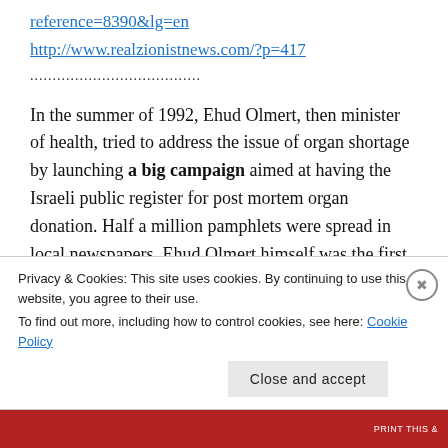reference=8390&lg=en
http://www.realzionistnews.com/?p=417
......................................
In the summer of 1992, Ehud Olmert, then minister of health, tried to address the issue of organ shortage by launching a big campaign aimed at having the Israeli public register for post mortem organ donation. Half a million pamphlets were spread in local newspapers. Ehud Olmert himself was the first
Privacy & Cookies: This site uses cookies. By continuing to use this website, you agree to their use.
To find out more, including how to control cookies, see here: Cookie Policy
Close and accept